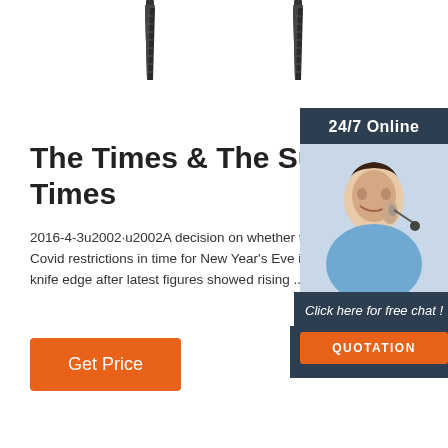[Figure (illustration): Two screw illustrations at the top of the page]
The Times & The Sunday Times
2016-4-3u2002·u2002A decision on whether to impose further Covid restrictions in time for New Year's Eve is poised on a knife edge after latest figures showed rising ...
Get Price
[Figure (photo): 24/7 Online customer support agent - smiling woman with headset. Sidebar with 'Click here for free chat!' text and QUOTATION button.]